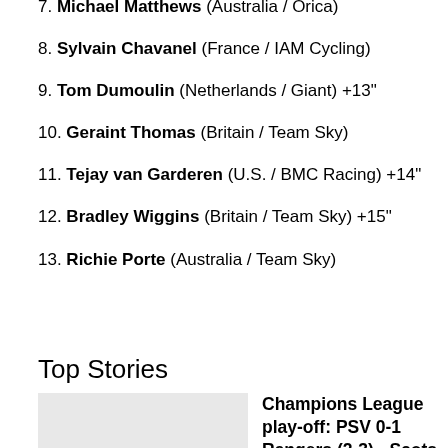7. Michael Matthews (Australia / Orica)
8. Sylvain Chavanel (France / IAM Cycling)
9. Tom Dumoulin (Netherlands / Giant) +13"
10. Geraint Thomas (Britain / Team Sky)
11. Tejay van Garderen (U.S. / BMC Racing) +14"
12. Bradley Wiggins (Britain / Team Sky) +15"
13. Richie Porte (Australia / Team Sky)
Top Stories
[Figure (photo): Light grey placeholder image for Champions League article]
Champions League play-off: PSV 0-1 Rangers (2-3) - Scots eye group spot